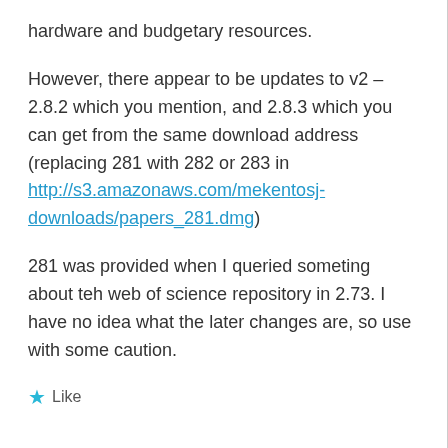hardware and budgetary resources.
However, there appear to be updates to v2 – 2.8.2 which you mention, and 2.8.3 which you can get from the same download address (replacing 281 with 282 or 283 in http://s3.amazonaws.com/mekentosj-downloads/papers_281.dmg)
281 was provided when I queried someting about teh web of science repository in 2.73. I have no idea what the later changes are, so use with some caution.
Like